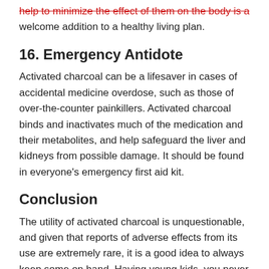help to minimize the effect of them on the body is a welcome addition to a healthy living plan.
16. Emergency Antidote
Activated charcoal can be a lifesaver in cases of accidental medicine overdose, such as those of over-the-counter painkillers. Activated charcoal binds and inactivates much of the medication and their metabolites, and help safeguard the liver and kidneys from possible damage. It should be found in everyone's emergency first aid kit.
Conclusion
The utility of activated charcoal is unquestionable, and given that reports of adverse effects from its use are extremely rare, it is a good idea to always keep some on hand. Having young kids, you never know when accidents may happen; and you know the mantra- “better safe than